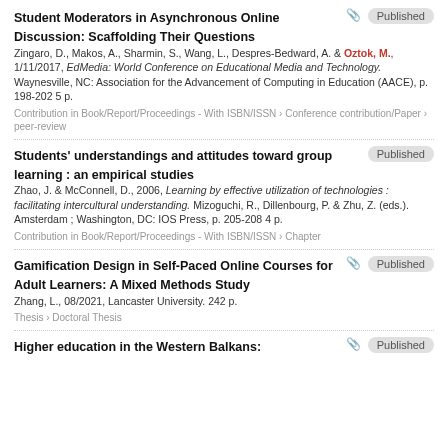Student Moderators in Asynchronous Online Discussion: Scaffolding Their Questions
Zingaro, D., Makos, A., Sharmin, S., Wang, L., Despres-Bedward, A. & Oztok, M., 1/11/2017, EdMedia: World Conference on Educational Media and Technology. Waynesville, NC: Association for the Advancement of Computing in Education (AACE), p. 198-202 5 p.
Contribution in Book/Report/Proceedings - With ISBN/ISSN › Conference contribution/Paper › peer-review
Students' understandings and attitudes toward group learning : an empirical studies
Zhao, J. & McConnell, D., 2006, Learning by effective utilization of technologies : facilitating intercultural understanding. Mizoguchi, R., Dillenbourg, P. & Zhu, Z. (eds.). Amsterdam ; Washington, DC: IOS Press, p. 205-208 4 p.
Contribution in Book/Report/Proceedings - With ISBN/ISSN › Chapter
Gamification Design in Self-Paced Online Courses for Adult Learners: A Mixed Methods Study
Zhang, L., 08/2021, Lancaster University. 242 p.
Thesis › Doctoral Thesis
Higher education in the Western Balkans: